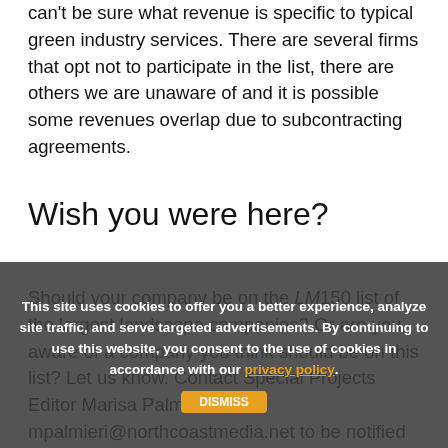can't be sure what revenue is specific to typical green industry services. There are several firms that opt not to participate in the list, there are others we are unaware of and it is possible some revenues overlap due to subcontracting agreements.
Wish you were here?
Should your company be on the LM150 list of the largest landscape companies? Or are you aware of a company you think should be on this list? Let us know. Contact Special Projects Editor Marisa Palmieri at mpalmieri@northcoastmedia.net to be notified when the 2020 submission period opens. We
This site uses cookies to offer you a better experience, analyze site traffic, and serve targeted advertisements. By continuing to use this website, you consent to the use of cookies in accordance with our privacy policy.